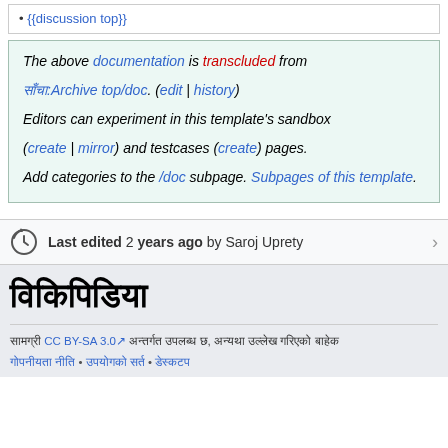{{discussion top}}
The above documentation is transcluded from साँचा:Archive top/doc. (edit | history) Editors can experiment in this template's sandbox (create | mirror) and testcases (create) pages. Add categories to the /doc subpage. Subpages of this template.
Last edited 2 years ago by Saroj Uprety
विकिपिडिया
सामग्री CC BY-SA 3.0 अन्तर्गत उपलब्ध छ, अन्यथा उल्लेख गरिएको बाहेक
गोपनीयता नीति • उपयोगको सर्त • डेस्कटप